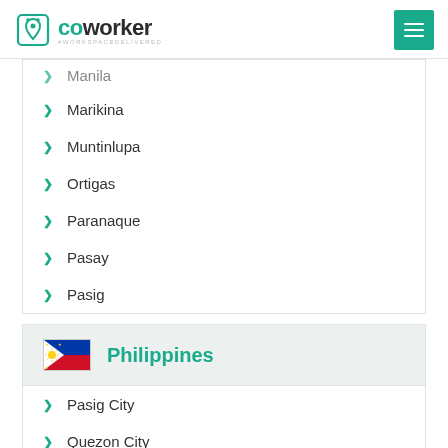coworker #WORKSPACEDELIVERED
Manila
Marikina
Muntinlupa
Ortigas
Paranaque
Pasay
Pasig
Philippines
Pasig City
Quezon City
Roxas
San Fernando
San Juan